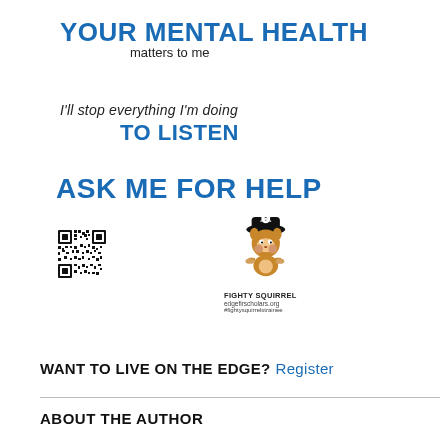YOUR MENTAL HEALTH matters to me
I'll stop everything I'm doing TO LISTEN
ASK ME FOR HELP
[Figure (other): QR code for Fighty Squirrel / edgefirscholars.org]
[Figure (illustration): Fighty Squirrel mascot wearing pirate hat, with text FIGHTY SQUIRREL edgefirscholars.org #fightysquirrelstrainee]
WANT TO LIVE ON THE EDGE? Register
ABOUT THE AUTHOR